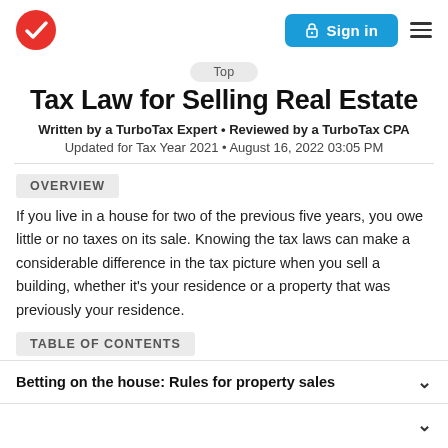[Figure (logo): TurboTax red circle checkmark logo and navigation bar with Sign in button and hamburger menu]
Tax Law for Selling Real Estate
Written by a TurboTax Expert • Reviewed by a TurboTax CPA
Updated for Tax Year 2021 • August 16, 2022 03:05 PM
OVERVIEW
If you live in a house for two of the previous five years, you owe little or no taxes on its sale. Knowing the tax laws can make a considerable difference in the tax picture when you sell a building, whether it's your residence or a property that was previously your residence.
TABLE OF CONTENTS
Betting on the house: Rules for property sales